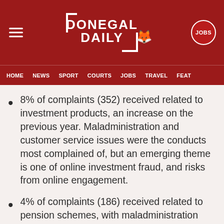DONEGAL DAILY
8% of complaints (352) received related to investment products, an increase on the previous year. Maladministration and customer service issues were the conducts most complained of, but an emerging theme is one of online investment fraud, and risks from online engagement.
4% of complaints (186) received related to pension schemes, with maladministration accounting for 30% of the complaints received.